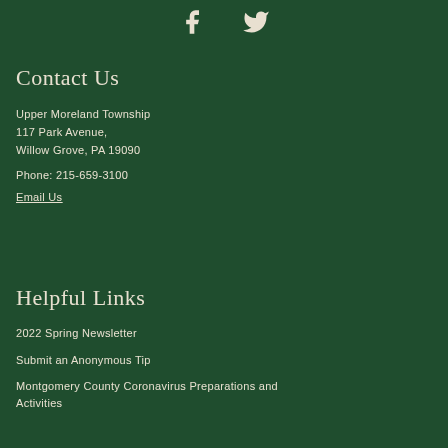[Figure (logo): Social media icons: Facebook and Twitter in cream/white color on dark green background]
Contact Us
Upper Moreland Township
117 Park Avenue,
Willow Grove, PA 19090
Phone: 215-659-3100
Email Us
Helpful Links
2022 Spring Newsletter
Submit an Anonymous Tip
Montgomery County Coronavirus Preparations and Activities